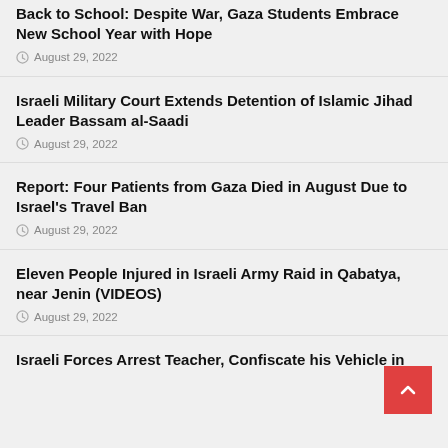Back to School: Despite War, Gaza Students Embrace New School Year with Hope
August 29, 2022
Israeli Military Court Extends Detention of Islamic Jihad Leader Bassam al-Saadi
August 29, 2022
Report: Four Patients from Gaza Died in August Due to Israel’s Travel Ban
August 29, 2022
Eleven People Injured in Israeli Army Raid in Qabatya, near Jenin (VIDEOS)
August 29, 2022
Israeli Forces Arrest Teacher, Confiscate his Vehicle in